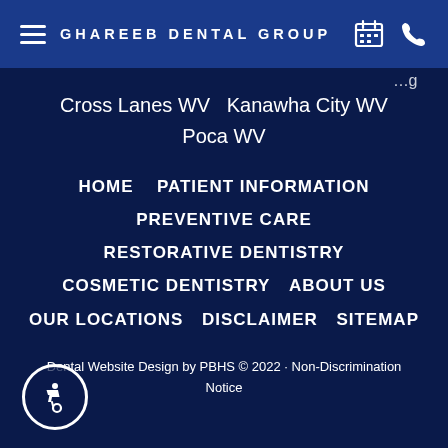GHAREEB DENTAL GROUP
Cross Lanes WV   Kanawha City WV   Poca WV
HOME
PATIENT INFORMATION
PREVENTIVE CARE
RESTORATIVE DENTISTRY
COSMETIC DENTISTRY
ABOUT US
OUR LOCATIONS
DISCLAIMER
SITEMAP
Dental Website Design by PBHS © 2022 · Non-Discrimination Notice